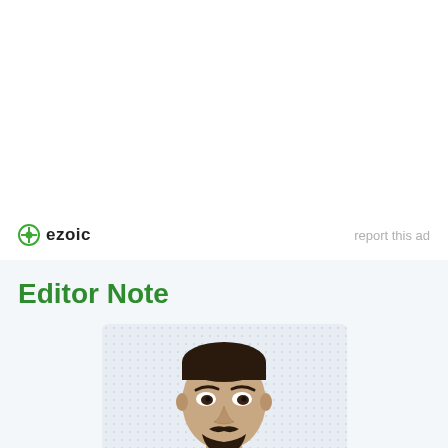[Figure (logo): Ezoic logo with green circle icon and bold text 'ezoic']
report this ad
Editor Note
[Figure (photo): Illustrated avatar/caricature of a man with dark hair and mustache, shown from shoulders up, on a dotted light blue background]